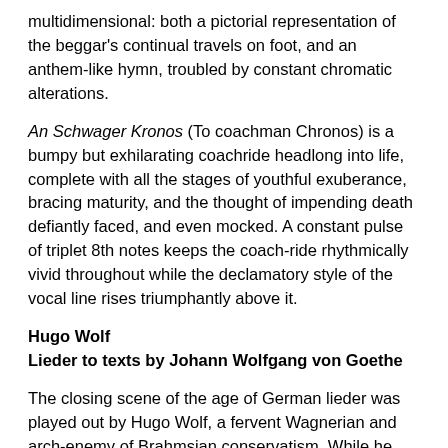multidimensional: both a pictorial representation of the beggar's continual travels on foot, and an anthem-like hymn, troubled by constant chromatic alterations.
An Schwager Kronos (To coachman Chronos) is a bumpy but exhilarating coachride headlong into life, complete with all the stages of youthful exuberance, bracing maturity, and the thought of impending death defiantly faced, and even mocked. A constant pulse of triplet 8th notes keeps the coach-ride rhythmically vivid throughout while the declamatory style of the vocal line rises triumphantly above it.
Hugo Wolf
Lieder to texts by Johann Wolfgang von Goethe
The closing scene of the age of German lieder was played out by Hugo Wolf, a fervent Wagnerian and arch-enemy of Brahmsian conservatism. While he packaged his terse, intensely expressive poetic settings within the framework of the traditional lied, his boldly chromatic treatment of poetic texts provided a glimpse into developments to come in the 12-